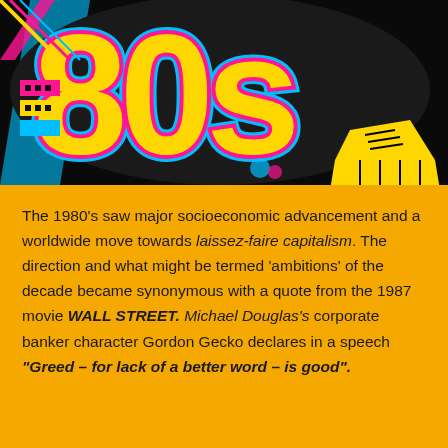[Figure (illustration): Colorful retro 1980s graphic with large yellow '80s' text outlined in pink and blue, with black shadow, on a black background. Decorative elements include a yellow sneaker/shoe, geometric shapes, and other 80s-themed imagery in yellow, pink, cyan/blue, and black.]
The 1980's saw major socioeconomic advancement and a worldwide move towards laissez-faire capitalism. The direction and what might be termed 'ambitions' of the decade became synonymous with a quote from the 1987 movie WALL STREET. Michael Douglas's corporate banker character Gordon Gecko declares in a speech "Greed – for lack of a better word – is good".